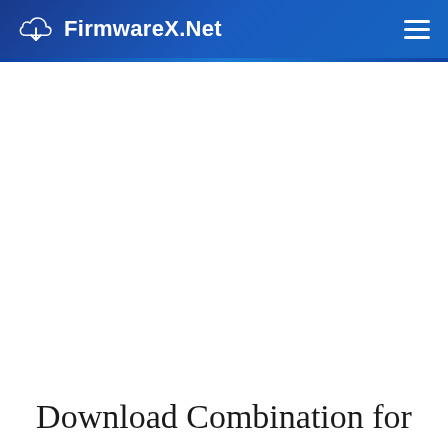FirmwareX.Net
Download Combination for